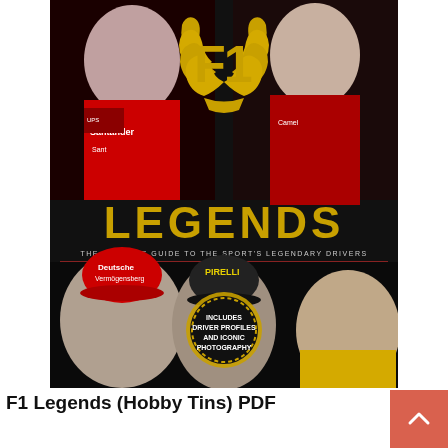[Figure (photo): Book cover of 'F1 Legends (Hobby Tins)' — a dark background with gold laurel wreath and 'F1' text at the top, large gold 'LEGENDS' title in the middle, subtitle 'THE ULTIMATE GUIDE TO THE SPORT'S LEGENDARY DRIVERS', featuring photos of Formula 1 drivers including Sebastian Vettel, Nigel Mansell, Michael Schumacher, Lewis Hamilton, and Ayrton Senna. A gold badge reads 'INCLUDES DRIVER PROFILES AND ICONIC PHOTOGRAPHY'.]
F1 Legends (Hobby Tins) PDF